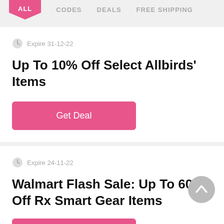ALL   CODES   DEALS   FREE SHIPPING
Expire 31-12-22
Up To 10% Off Select Allbirds' Items
Get Deal
Expire 24-11-22
Walmart Flash Sale: Up To 60% Off Rx Smart Gear Items
Get Deal